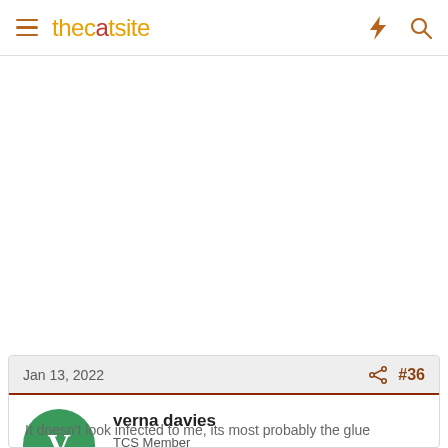thecatsite
Jan 13, 2022  #36
verna davies
TCS Member
Staff Member  Forum Helper
It doesn't look infected to me, its most probably the glue